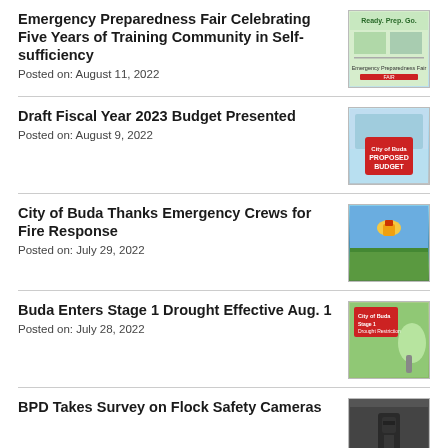Emergency Preparedness Fair Celebrating Five Years of Training Community in Self-sufficiency
Posted on: August 11, 2022
Draft Fiscal Year 2023 Budget Presented
Posted on: August 9, 2022
City of Buda Thanks Emergency Crews for Fire Response
Posted on: July 29, 2022
Buda Enters Stage 1 Drought Effective Aug. 1
Posted on: July 28, 2022
BPD Takes Survey on Flock Safety Cameras